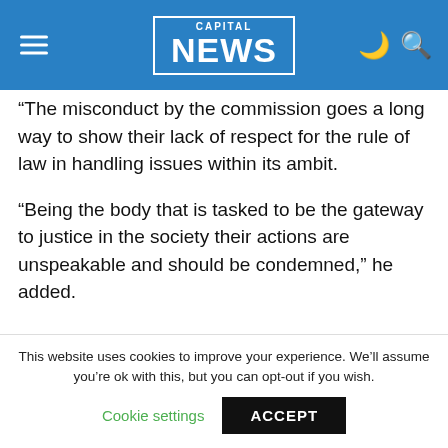CAPITAL NEWS
“The misconduct by the commission goes a long way to show their lack of respect for the rule of law in handling issues within its ambit.
“Being the body that is tasked to be the gateway to justice in the society their actions are unspeakable and should be condemned,” he added.
He explained “we have seen a need for a complete reconstruction of the membership of the JSC and fresh members with integrity be appointed. This matter comes right when lawyers have been tasked with replacing their
This website uses cookies to improve your experience. We’ll assume you’re ok with this, but you can opt-out if you wish.
Cookie settings  ACCEPT